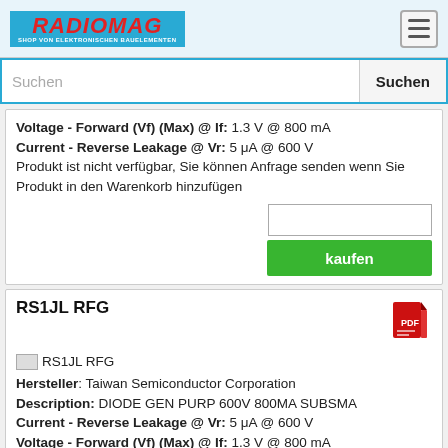RADIOMAG - SHOP VON ELEKTRONISCHEN BAUELEMENTEN
Suchen
Voltage - Forward (Vf) (Max) @ If: 1.3 V @ 800 mA
Current - Reverse Leakage @ Vr: 5 μA @ 600 V
Produkt ist nicht verfügbar, Sie können Anfrage senden wenn Sie Produkt in den Warenkorb hinzufügen
kaufen
RS1JL RFG
[Figure (logo): RS1JL RFG product image placeholder]
Hersteller: Taiwan Semiconductor Corporation
Description: DIODE GEN PURP 600V 800MA SUBSMA
Current - Reverse Leakage @ Vr: 5 μA @ 600 V
Voltage - Forward (Vf) (Max) @ If: 1.3 V @ 800 mA
Voltage - DC Reverse (Vr) (Max): 600 V
Part Status: Active
Operating Temperature - Junction: -55°C ~ 150°C
Supplier Device Package: Sub SMA